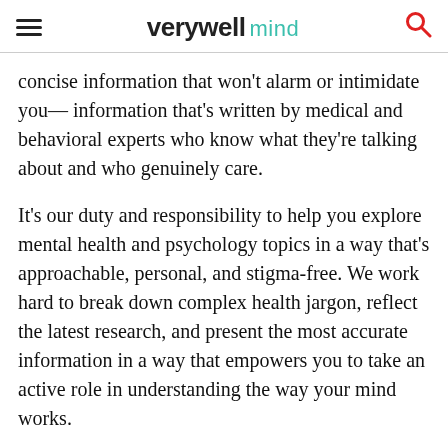verywell mind
concise information that won't alarm or intimidate you— information that's written by medical and behavioral experts who know what they're talking about and who genuinely care.
It's our duty and responsibility to help you explore mental health and psychology topics in a way that's approachable, personal, and stigma-free. We work hard to break down complex health jargon, reflect the latest research, and present the most accurate information in a way that empowers you to take an active role in understanding the way your mind works.
Verywell Mind answers your mental health questions in the very moments they matter most